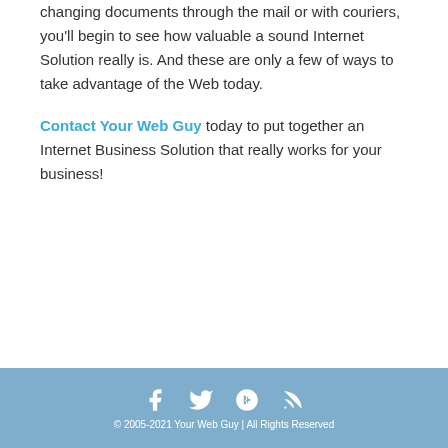changing documents through the mail or with couriers, you'll begin to see how valuable a sound Internet Solution really is. And these are only a few of ways to take advantage of the Web today.
Contact Your Web Guy today to put together an Internet Business Solution that really works for your business!
© 2005-2021 Your Web Guy | All Rights Reserved